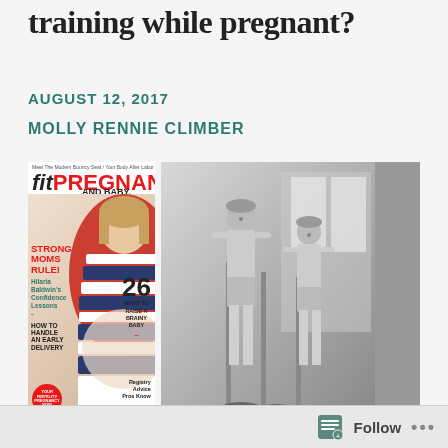training while pregnant?
AUGUST 12, 2017
MOLLY RENNIE CLIMBER
[Figure (photo): Cover of fit PREGNANCY AND BABY magazine featuring a pregnant woman in a navy and white striped dress with a red cape, with headlines: STRONG MOMS RULE!, Hilaria Baldwin's Confidence Lessons, HOW TO HANDLE AN EARLY DELIVERY, 26 WAYS TO RAISE A BRAINY BABY, Registry Advice Pros Know]
[Figure (photo): Black and white vintage photograph of two women in athletic/exercise clothing using gym equipment (roller-type exercise machines)]
Follow ...